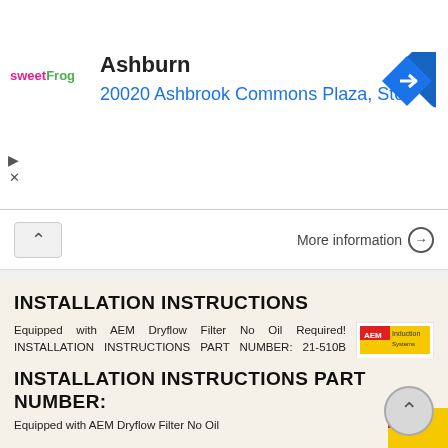[Figure (other): sweetFrog advertisement banner with store name Ashburn and address 20020 Ashbrook Commons Plaza, Ste . with a blue navigation diamond icon]
More information →
INSTALLATION INSTRUCTIONS
Equipped with AEM Dryflow Filter No Oil Required! INSTALLATION INSTRUCTIONS PART NUMBER: 21-510B (Blue Finish) 21-510C (Gun Metal Grey Finish) 21-510P (Vacuum Metalized Chrome-VMC) 21-510R (Red Finish)
[Figure (other): AEM installation instructions document thumbnail]
More information →
INSTALLATION INSTRUCTIONS PART NUMBER:
Equipped with AEM Dryflow Filter No Oil